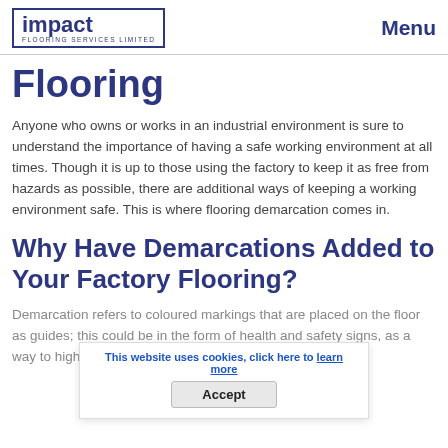impact FLOORING SERVICES LIMITED | Menu
Flooring
Anyone who owns or works in an industrial environment is sure to understand the importance of having a safe working environment at all times. Though it is up to those using the factory to keep it as free from hazards as possible, there are additional ways of keeping a working environment safe. This is where flooring demarcation comes in.
Why Have Demarcations Added to Your Factory Flooring?
Demarcation refers to coloured markings that are placed on the floor as guides; this could be in the form of health and safety signs, as a way to highlight pedestrian